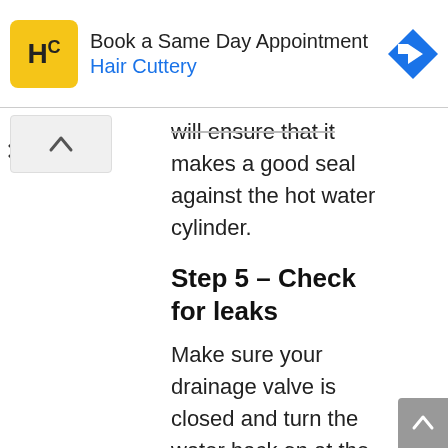[Figure (other): Hair Cuttery advertisement banner with yellow logo, 'Book a Same Day Appointment' text, blue brand name, and blue arrow icon]
will ensure that it makes a good seal against the hot water cylinder.
Step 5 – Check for leaks
Make sure your drainage valve is closed and turn the water back on at the stopcock. Your trusty hot water taps should